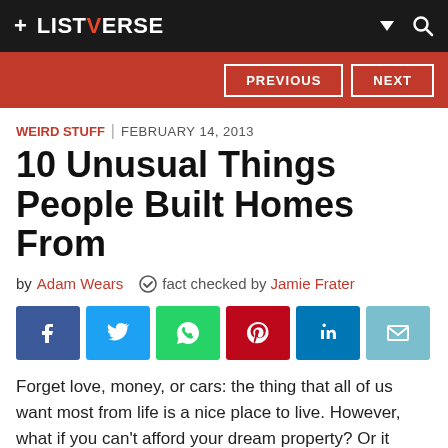+ LISTVERSE
WEIRD STUFF | FEBRUARY 14, 2013
10 Unusual Things People Built Homes From
by Adam Wears  fact checked by Jamie Frater
[Figure (infographic): Six social sharing buttons: Facebook (blue), Twitter (light blue), WhatsApp (green), Pinterest (red), LinkedIn (dark blue), Email (teal)]
Forget love, money, or cars: the thing that all of us want most from life is a nice place to live. However, what if you can’t afford your dream property? Or it doesn’t exist? Simple: build it. And, as we’re about to demonstrate, it really doesn’t matter what you build your house from.